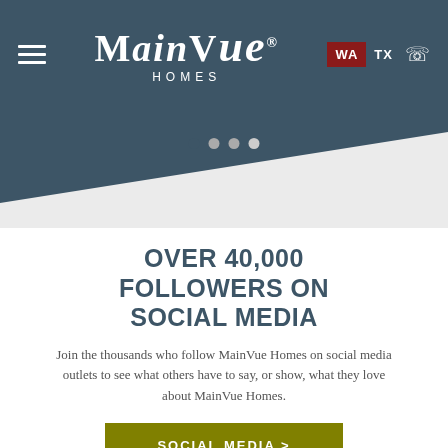MainVue Homes — WA TX
[Figure (screenshot): MainVue Homes website header with logo, hamburger menu, WA/TX state selectors, and phone icon on dark teal background with angled transition and carousel dots]
OVER 40,000 FOLLOWERS ON SOCIAL MEDIA
Join the thousands who follow MainVue Homes on social media outlets to see what others have to say, or show, what they love about MainVue Homes.
SOCIAL MEDIA >